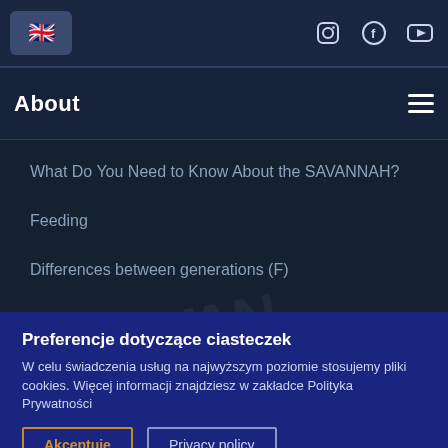[Figure (screenshot): Top navigation bar with UK flag button and social media icons (Instagram, Facebook, YouTube)]
About
What Do You Need to Know About the SAVANNAH?
Feeding
Differences between generations (F)
Preferencje dotyczące ciasteczek
W celu świadczenia usług na najwyższym poziomie stosujemy pliki cookies. Więcej informacji znajdziesz w zakładce Polityka Prywatności
Akceptuję | Privacy policy